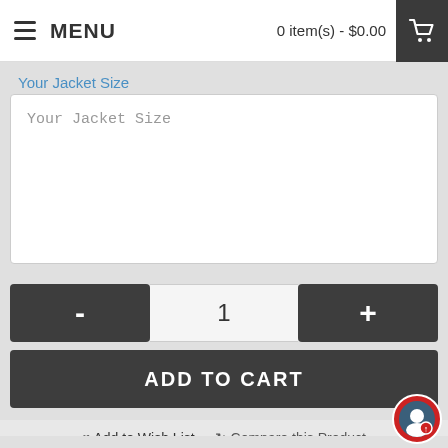MENU   0 item(s) - $0.00
Your Jacket Size
Your Jacket Size
- 1 +
ADD TO CART
Add to Wish List   Compare this Product
1 reviews / Write a review